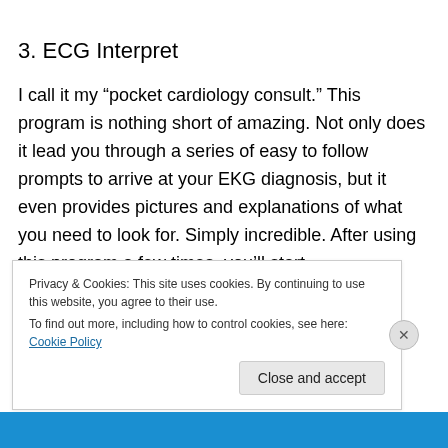3. ECG Interpret
I call it my “pocket cardiology consult.” This program is nothing short of amazing. Not only does it lead you through a series of easy to follow prompts to arrive at your EKG diagnosis, but it even provides pictures and explanations of what you need to look for. Simply incredible. After using this program a few times, you’ll start to learn the interpretation of multiple syndromes and
Privacy & Cookies: This site uses cookies. By continuing to use this website, you agree to their use.
To find out more, including how to control cookies, see here: Cookie Policy